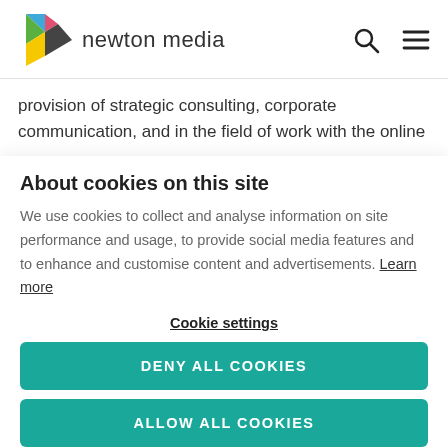newton media
provision of strategic consulting, corporate communication, and in the field of work with the online
About cookies on this site
We use cookies to collect and analyse information on site performance and usage, to provide social media features and to enhance and customise content and advertisements. Learn more
Cookie settings
DENY ALL COOKIES
ALLOW ALL COOKIES